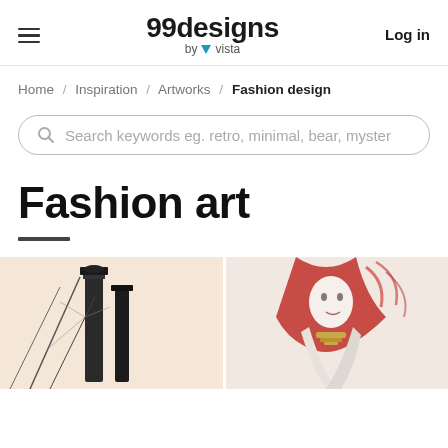99designs by vista — Log in
Home / Inspiration / Artworks / Fashion design
Search keywords eg. retro, minimal, bear, myster
Fashion art
[Figure (illustration): Two fashion art illustrations partially visible at bottom: left shows a dark architectural/fashion sketch on beige background, right shows a figure with red and white fashion illustration]